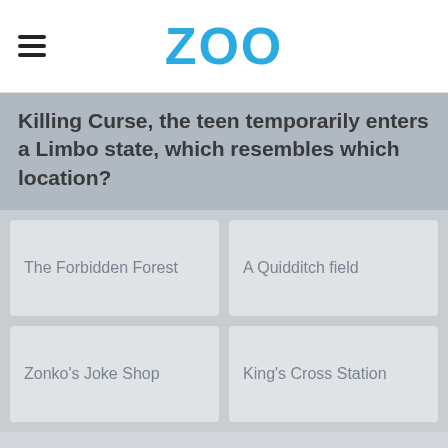ZOO
Killing Curse, the teen temporarily enters a Limbo state, which resembles which location?
The Forbidden Forest
A Quidditch field
Zonko's Joke Shop
King's Cross Station
Advertisement